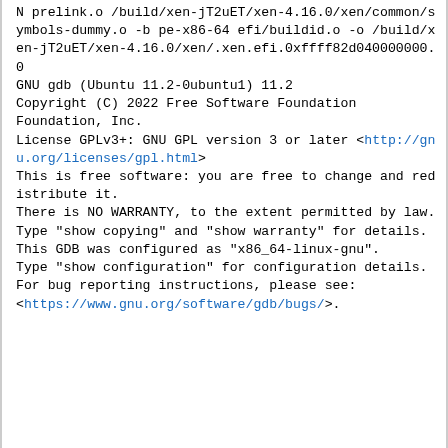N prelink.o /build/xen-jT2uET/xen-4.16.0/xen/common/symbols-dummy.o -b pe-x86-64 efi/buildid.o -o /build/xen-jT2uET/xen-4.16.0/xen/.xen.efi.0xffff82d040000000.0
GNU gdb (Ubuntu 11.2-0ubuntu1) 11.2
Copyright (C) 2022 Free Software Foundation, Inc.
License GPLv3+: GNU GPL version 3 or later <http://gnu.org/licenses/gpl.html>
This is free software: you are free to change and redistribute it.
There is NO WARRANTY, to the extent permitted by law.
Type "show copying" and "show warranty" for details.
This GDB was configured as "x86_64-linux-gnu".
Type "show configuration" for configuration details.
For bug reporting instructions, please see:
<https://www.gnu.org/software/gdb/bugs/>.